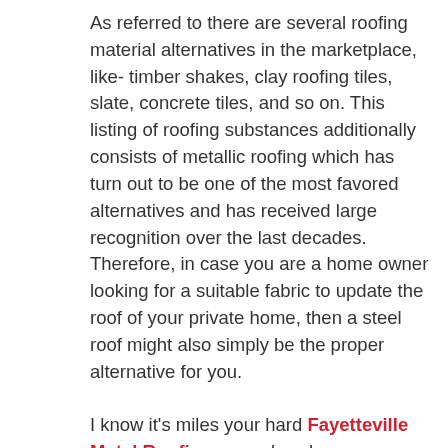As referred to there are several roofing material alternatives in the marketplace, like- timber shakes, clay roofing tiles, slate, concrete tiles, and so on. This listing of roofing substances additionally consists of metallic roofing which has turn out to be one of the most favored alternatives and has received large recognition over the last decades. Therefore, in case you are a home owner looking for a suitable fabric to update the roof of your private home, then a steel roof might also simply be the proper alternative for you.

I know it's miles your hard Fayetteville Metal Roofing earned cash we are taking approximately, so it's far very important which